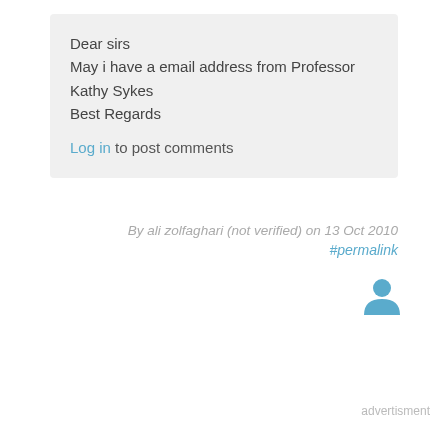Dear sirs
May i have a email address from Professor Kathy Sykes
Best Regards
Log in to post comments
By ali zolfaghari (not verified) on 13 Oct 2010
#permalink
[Figure (illustration): User avatar icon in blue/teal color]
advertisment